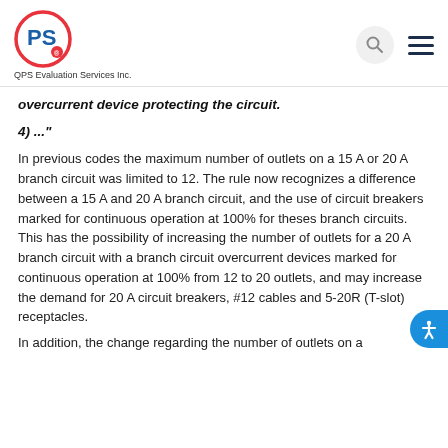QPS Evaluation Services Inc.
overcurrent device protecting the circuit.
4) ..."
In previous codes the maximum number of outlets on a 15 A or 20 A branch circuit was limited to 12. The rule now recognizes a difference between a 15 A and 20 A branch circuit, and the use of circuit breakers marked for continuous operation at 100% for theses branch circuits. This has the possibility of increasing the number of outlets for a 20 A branch circuit with a branch circuit overcurrent devices marked for continuous operation at 100% from 12 to 20 outlets, and may increase the demand for 20 A circuit breakers, #12 cables and 5-20R (T-slot) receptacles.
In addition, the change regarding the number of outlets on a